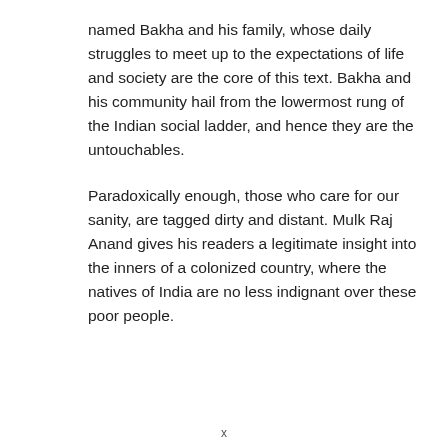named Bakha and his family, whose daily struggles to meet up to the expectations of life and society are the core of this text. Bakha and his community hail from the lowermost rung of the Indian social ladder, and hence they are the untouchables.
Paradoxically enough, those who care for our sanity, are tagged dirty and distant. Mulk Raj Anand gives his readers a legitimate insight into the inners of a colonized country, where the natives of India are no less indignant over these poor people.
x